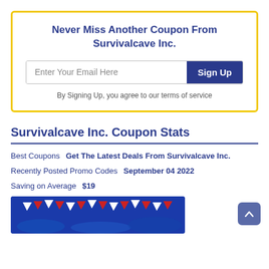Never Miss Another Coupon From Survivalcave Inc.
Enter Your Email Here
Sign Up
By Signing Up, you agree to our terms of service
Survivalcave Inc. Coupon Stats
Best Coupons   Get The Latest Deals From Survivalcave Inc.
Recently Posted Promo Codes   September 04 2022
Saving on Average   $19
[Figure (photo): Decorative banner image with blue background and red, white, and blue bunting flags]